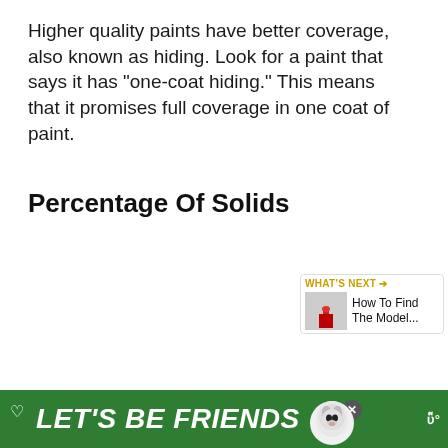Higher quality paints have better coverage, also known as hiding. Look for a paint that says it has "one-coat hiding." This means that it promises full coverage in one coat of paint.
Percentage Of Solids
[Figure (photo): Photo of a gallon paint can with a silver lid and wire handle, on a white background. Social media UI elements visible on the right: heart/like button (gold), count '1', share button, and a 'What's Next' widget showing 'How To Find The Model...' with a thumbnail.]
[Figure (infographic): Green advertisement banner at the bottom reading 'LET'S BE FRIENDS' with a cartoon dog (husky) image, a heart outline icon, an X close button, and a logo 'w°' on the right.]